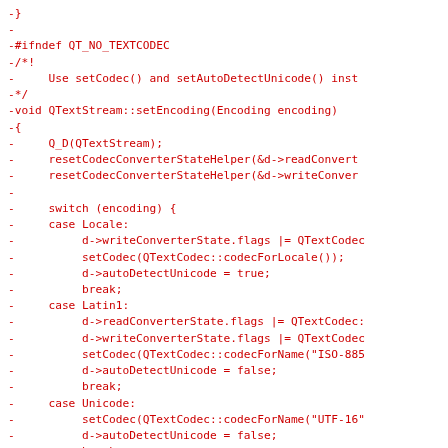-}
-
-#ifndef QT_NO_TEXTCODEC
-/*!
-     Use setCodec() and setAutoDetectUnicode() inst
-*/
-void QTextStream::setEncoding(Encoding encoding)
-{
-     Q_D(QTextStream);
-     resetCodecConverterStateHelper(&d->readConvert
-     resetCodecConverterStateHelper(&d->writeConver
-
-     switch (encoding) {
-     case Locale:
-          d->writeConverterState.flags |= QTextCodec
-          setCodec(QTextCodec::codecForLocale());
-          d->autoDetectUnicode = true;
-          break;
-     case Latin1:
-          d->readConverterState.flags |= QTextCodec:
-          d->writeConverterState.flags |= QTextCodec
-          setCodec(QTextCodec::codecForName("ISO-885
-          d->autoDetectUnicode = false;
-          break;
-     case Unicode:
-          setCodec(QTextCodec::codecForName("UTF-16"
-          d->autoDetectUnicode = false;
-          break;
-     case RawUnicode:
-          d->readConverterState.flags |= QTextCodec: